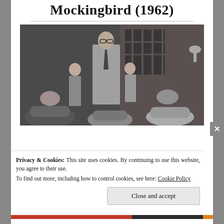Mockingbird (1962)
[Figure (photo): Black and white still from the 1962 film To Kill a Mockingbird. A tall man in a light suit and glasses stands in a courtroom, with two children beside him and men wearing hats seated in the foreground, in front of a brick wall with barred windows.]
Privacy & Cookies: This site uses cookies. By continuing to use this website, you agree to their use.
To find out more, including how to control cookies, see here: Cookie Policy
Close and accept